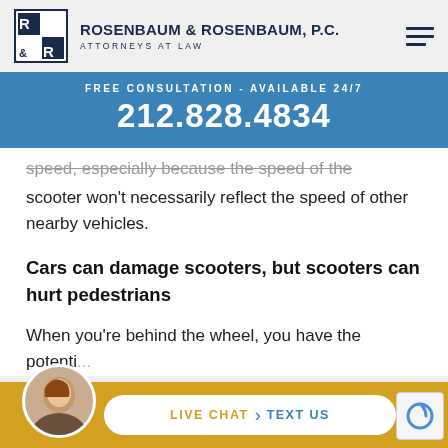[Figure (logo): Rosenbaum & Rosenbaum P.C. law firm logo with R&R initials in a square box]
ROSENBAUM & ROSENBAUM, P.C. ATTORNEYS AT LAW
FREE CONSULTATION - AVAILABLE 24/7
212.828.4834
speed, especially because the speed of the scooter won't necessarily reflect the speed of other nearby vehicles.
Cars can damage scooters, but scooters can hurt pedestrians
When you're behind the wheel, you have the potenti...